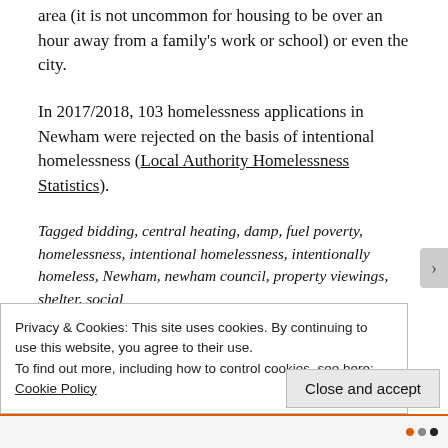area (it is not uncommon for housing to be over an hour away from a family's work or school) or even the city.
In 2017/2018, 103 homelessness applications in Newham were rejected on the basis of intentional homelessness (Local Authority Homelessness Statistics).
Tagged bidding, central heating, damp, fuel poverty, homelessness, intentional homelessness, intentionally homeless, Newham, newham council, property viewings, shelter, social
Privacy & Cookies: This site uses cookies. By continuing to use this website, you agree to their use.
To find out more, including how to control cookies, see here:
Cookie Policy
Close and accept